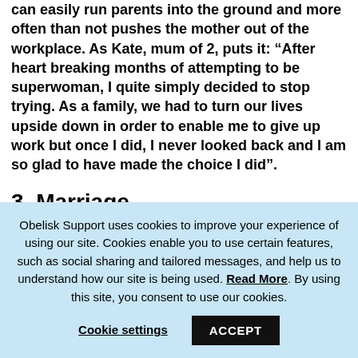can easily run parents into the ground and more often than not pushes the mother out of the workplace. As Kate, mum of 2, puts it: “After heart breaking months of attempting to be superwoman, I quite simply decided to stop trying. As a family, we had to turn our lives upside down in order to enable me to give up work but once I did, I never looked back and I am so glad to have made the choice I did”.
3. Marriage
We have come some way from the days when women first entered the profession in the 1920s
Obelisk Support uses cookies to improve your experience of using our site. Cookies enable you to use certain features, such as social sharing and tailored messages, and help us to understand how our site is being used. Read More. By using this site, you consent to use our cookies.